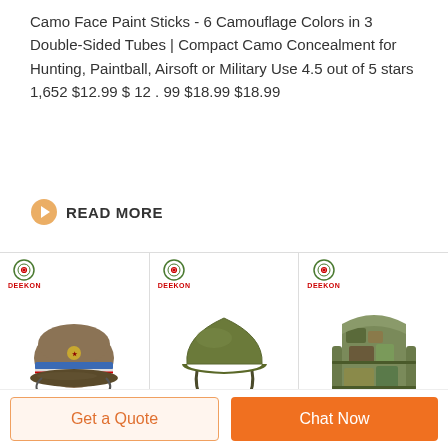Camo Face Paint Sticks - 6 Camouflage Colors in 3 Double-Sided Tubes | Compact Camo Concealment for Hunting, Paintball, Airsoft or Military Use 4.5 out of 5 stars 1,652 $12.99 $ 12 . 99 $18.99 $18.99
READ MORE
[Figure (photo): Military officer cap (khaki with blue band) with DEEKON logo]
[Figure (photo): Green military helmet with chin strap and DEEKON logo]
[Figure (photo): Camouflage military backpack with DEEKON logo]
Get a Quote
Chat Now